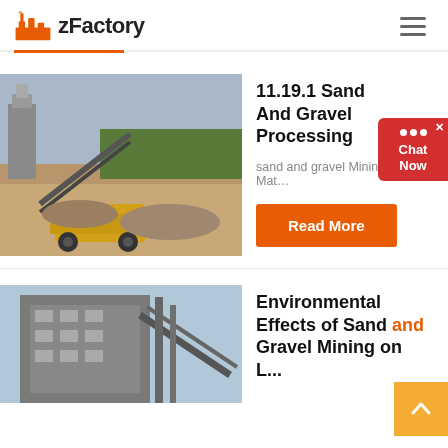zFactory
[Figure (photo): Sand and gravel processing plant with heavy machinery and conveyor belts, open pit mining area with trees in background]
11.19.1 Sand And Gravel Processing
sand and gravel Mining Raw Mat…
Read More
[Figure (photo): Industrial processing facility building with conveyor and structural steel, blue sky background]
Environmental Effects of Sand and Gravel Mining on Land